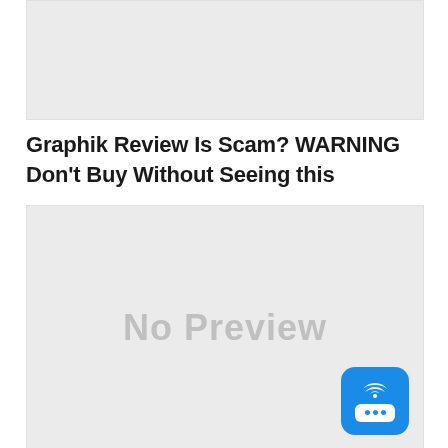[Figure (other): Gray placeholder image block at top of page]
Graphik Review Is Scam? WARNING Don't Buy Without Seeing this
[Figure (other): Large gray placeholder image with 'No Preview' text and a blue chat widget icon in the bottom right corner]